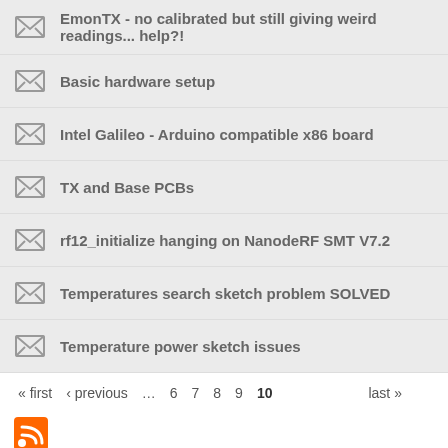EmonTX - no calibrated but still giving weird readings... help?!
Basic hardware setup
Intel Galileo - Arduino compatible x86 board
TX and Base PCBs
rf12_initialize hanging on NanodeRF SMT V7.2
Temperatures search sketch problem SOLVED
Temperature power sketch issues
« first  « previous  ...  6  7  8  9  last »  10
[Figure (other): RSS feed icon (orange square with white radio waves)]
Open-source tools for energy monitoring and an